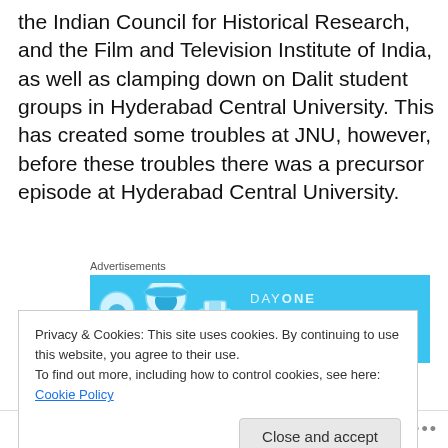the Indian Council for Historical Research, and the Film and Television Institute of India, as well as clamping down on Dalit student groups in Hyderabad Central University. This has created some troubles at JNU, however, before these troubles there was a precursor episode at Hyderabad Central University.
[Figure (other): Advertisement banner for Day One journaling app with blue background, app icons, and text 'The only journaling app you'll ever need.']
Dalit Student Leader Rohith Vemula, an aspiring science writer like his icon, Carl Sagan, committed suicide when
Privacy & Cookies: This site uses cookies. By continuing to use this website, you agree to their use.
To find out more, including how to control cookies, see here: Cookie Policy